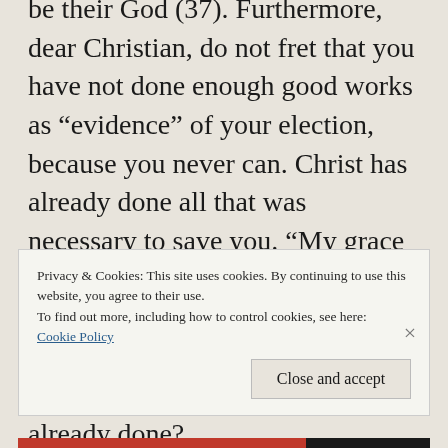be their God (37). Furthermore, dear Christian, do not fret that you have not done enough good works as “evidence” of your election, because you never can. Christ has already done all that was necessary to save you. “My grace is sufficient for you” (2 Corinthians 12:9). What do you think you can do with your meagre little works that Christ has not already done?
Privacy & Cookies: This site uses cookies. By continuing to use this website, you agree to their use.
To find out more, including how to control cookies, see here:
Cookie Policy
Close and accept